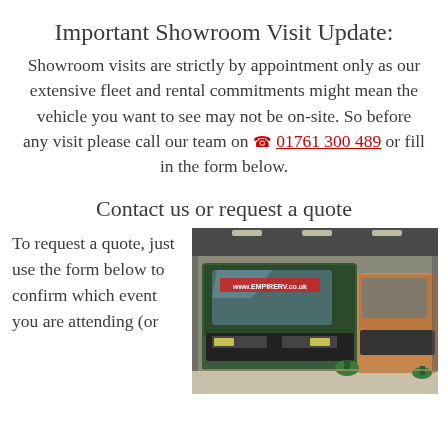Important Showroom Visit Update:
Showroom visits are strictly by appointment only as our extensive fleet and rental commitments might mean the vehicle you want to see may not be on-site. So before any visit please call our team on ☎ 01761 300 489 or fill in the form below.
Contact us or request a quote
To request a quote, just use the form below to confirm which event you are attending (or
[Figure (photo): Interior of an RV showroom with large motorhomes/RVs parked inside including a green one with www.EMPIRERV.co.uk branding visible on the windscreen]